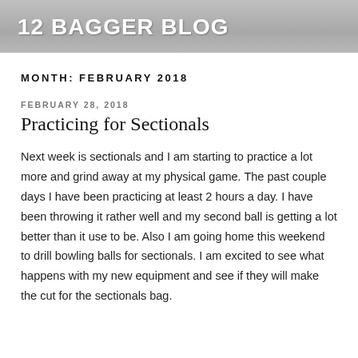12 BAGGER BLOG
MONTH: FEBRUARY 2018
FEBRUARY 28, 2018
Practicing for Sectionals
Next week is sectionals and I am starting to practice a lot more and grind away at my physical game. The past couple days I have been practicing at least 2 hours a day. I have been throwing it rather well and my second ball is getting a lot better than it use to be. Also I am going home this weekend to drill bowling balls for sectionals. I am excited to see what happens with my new equipment and see if they will make the cut for the sectionals bag.